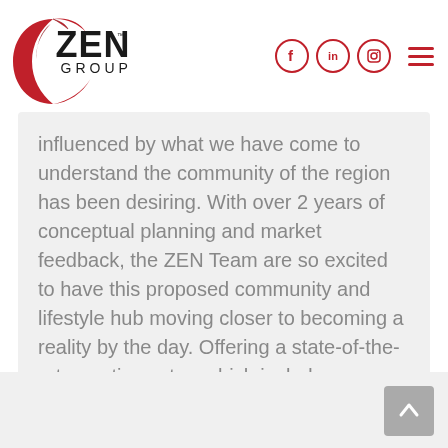[Figure (logo): ZEN Group logo with red crescent/circle graphic and bold ZEN text with GROUP below, trademark symbol]
[Figure (infographic): Social media icons: Facebook (f), LinkedIn (in), Instagram (camera) in red circles, and a red hamburger menu icon]
influenced by what we have come to understand the community of the region has been desiring. With over 2 years of conceptual planning and market feedback, the ZEN Team are so excited to have this proposed community and lifestyle hub moving closer to becoming a reality by the day. Offering a state-of-the-art aquatic centre, which includes...
[Figure (other): Light gray bottom strip with scroll-to-top arrow button in gray on the right side]